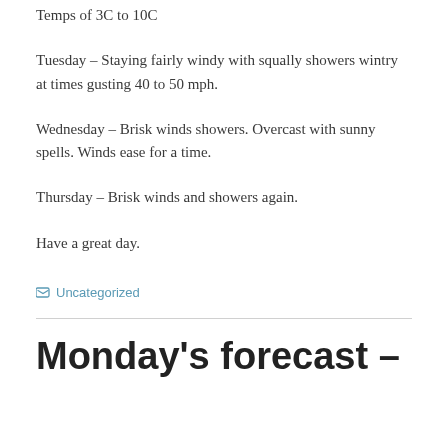Temps of 3C to 10C
Tuesday – Staying fairly windy with squally showers wintry at times gusting 40 to 50 mph.
Wednesday – Brisk winds showers. Overcast with sunny spells. Winds ease for a time.
Thursday – Brisk winds and showers again.
Have a great day.
Uncategorized
Monday's forecast –